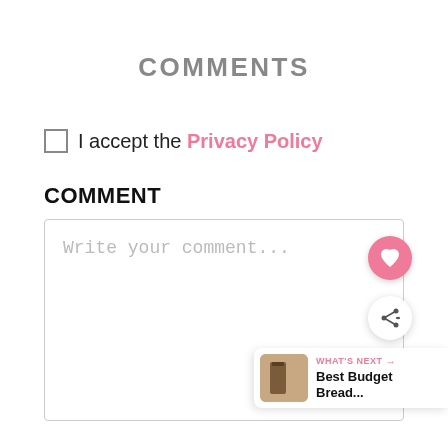COMMENTS
I accept the Privacy Policy
COMMENT
Write your comment...
[Figure (other): Pink circular heart icon button (floating action button)]
[Figure (other): White circular share icon button (floating action button)]
WHAT'S NEXT → Best Budget Bread...